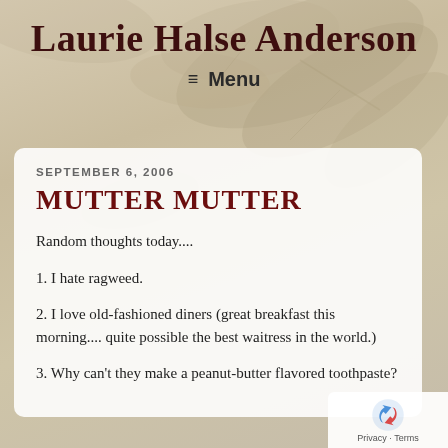Laurie Halse Anderson
≡  Menu
SEPTEMBER 6, 2006
MUTTER MUTTER
Random thoughts today....
1. I hate ragweed.
2. I love old-fashioned diners (great breakfast this morning.... quite possible the best waitress in the world.)
3. Why can't they make a peanut-butter flavored toothpaste?